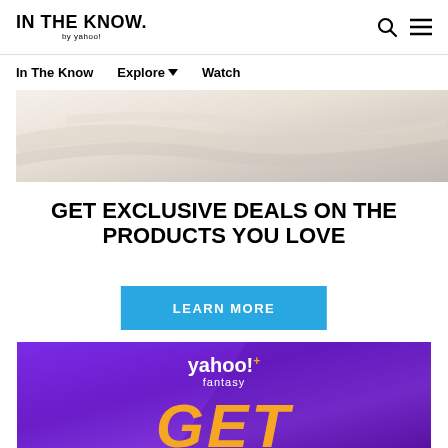IN THE KNOW. by yahoo!
In The Know  Explore ▾  Watch
[Figure (photo): Close-up product image showing folded white/cream fabric or bedding]
GET EXCLUSIVE DEALS ON THE PRODUCTS YOU LOVE
LEARN MORE
[Figure (screenshot): Yahoo! Fantasy+ advertisement banner with purple background showing 'GET' text in orange at the bottom]